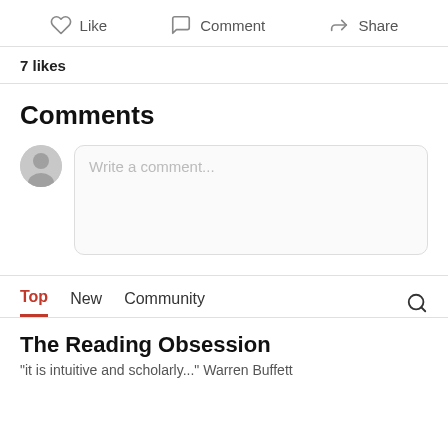Like   Comment   Share
7 likes
Comments
Write a comment...
Top   New   Community
The Reading Obsession
"it is intuitive and scholarly..." Warren Buffett